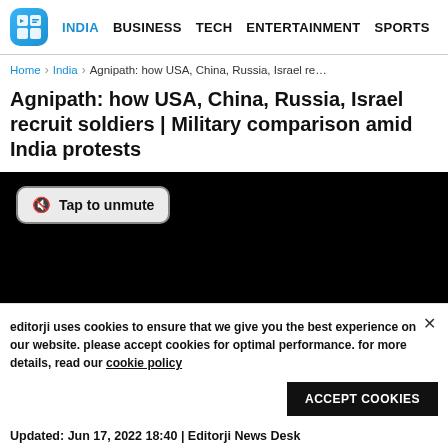INDIA  BUSINESS  TECH  ENTERTAINMENT  SPORTS
Home › India › Agnipath: how USA, China, Russia, Israel re…
Agnipath: how USA, China, Russia, Israel recruit soldiers | Military comparison amid India protests
[Figure (screenshot): Black video player with a 'Tap to unmute' button overlay in top left]
editorji uses cookies to ensure that we give you the best experience on our website. please accept cookies for optimal performance. for more details, read our cookie policy
Updated: Jun 17, 2022 18:40 | Editorji News Desk